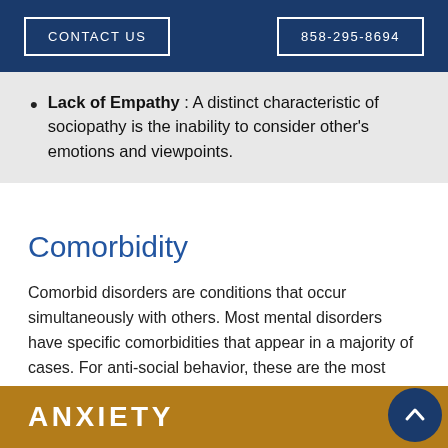CONTACT US | 858-295-8694
Lack of Empathy : A distinct characteristic of sociopathy is the inability to consider other's emotions and viewpoints.
Comorbidity
Comorbid disorders are conditions that occur simultaneously with others. Most mental disorders have specific comorbidities that appear in a majority of cases. For anti-social behavior, these are the most common.
ANXIETY